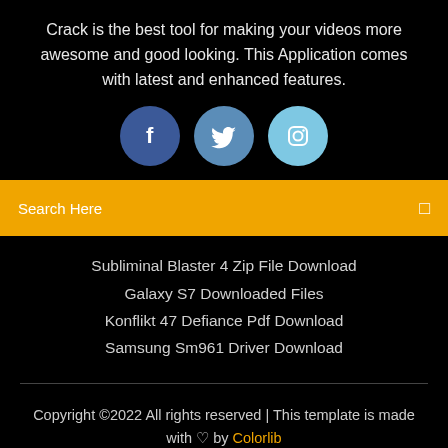Crack is the best tool for making your videos more awesome and good looking. This Application comes with latest and enhanced features.
[Figure (infographic): Three social media icon circles: Facebook (dark blue), Twitter (medium blue), Instagram (light blue)]
Search Here
Subliminal Blaster 4 Zip File Download
Galaxy S7 Downloaded Files
Konflikt 47 Defiance Pdf Download
Samsung Sm961 Driver Download
Copyright ©2022 All rights reserved | This template is made with ♡ by Colorlib